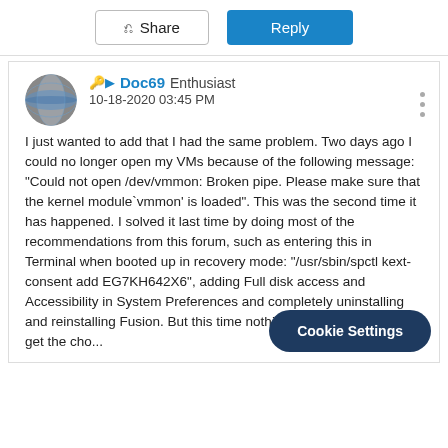[Figure (other): Share and Reply buttons at top of forum page]
[Figure (other): User avatar circle with blue/grey globe-like image]
Doc69  Enthusiast
10-18-2020 03:45 PM
I just wanted to add that I had the same problem. Two days ago I could no longer open my VMs because of the following message: "Could not open /dev/vmmon: Broken pipe. Please make sure that the kernel module`vmmon' is loaded". This was the second time it has happened. I solved it last time by doing most of the recommendations from this forum, such as entering this in Terminal when booted up in recovery mode: "/usr/sbin/spctl kext-consent add EG7KH642X6", adding Full disk access and Accessibility in System Preferences and completely uninstalling and reinstalling Fusion. But this time nothing help... install I did not get the cho...
Cookie Settings